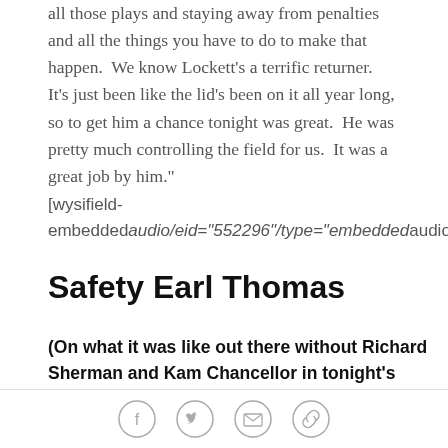all those plays and staying away from penalties and all the things you have to do to make that happen.  We know Lockett's a terrific returner.  It's just been like the lid's been on it all year long, so to get him a chance tonight was great.  He was pretty much controlling the field for us.  It was a great job by him."
[wysifield-embeddedaudio/eid="552296"/type="embeddedaudio"|vie
Safety Earl Thomas
(On what it was like out there without Richard Sherman and Kam Chancellor in tonight's game...)
"Early on, we were trying to get things together, but we settled down. The thing that I took from it is that no
social share icons: facebook, twitter, email, link